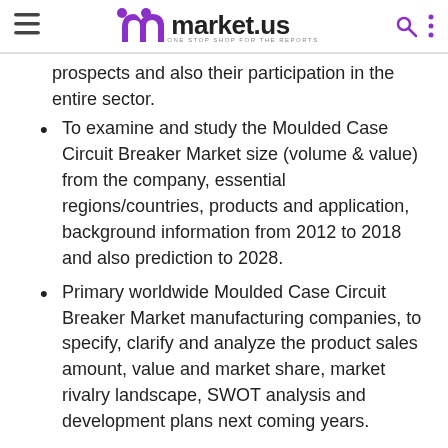market.us ONE STOP SHOP FOR THE REPORTS
prospects and also their participation in the entire sector.
To examine and study the Moulded Case Circuit Breaker Market size (volume & value) from the company, essential regions/countries, products and application, background information from 2012 to 2018 and also prediction to 2028.
Primary worldwide Moulded Case Circuit Breaker Market manufacturing companies, to specify, clarify and analyze the product sales amount, value and market share, market rivalry landscape, SWOT analysis and development plans next coming years.